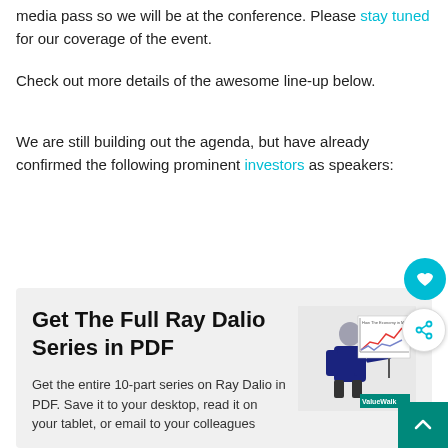media pass so we will be at the conference. Please stay tuned for our coverage of the event.
Check out more details of the awesome line-up below.
We are still building out the agenda, but have already confirmed the following prominent investors as speakers:
[Figure (infographic): Promotional box with light gray background. Left side has bold title 'Get The Full Ray Dalio Series in PDF' and body text 'Get the entire 10-part series on Ray Dalio in PDF. Save it to your desktop, read it on your tablet, or email to your colleagues'. Right side shows a ValueWalk branded image of a person pointing at a line chart.]